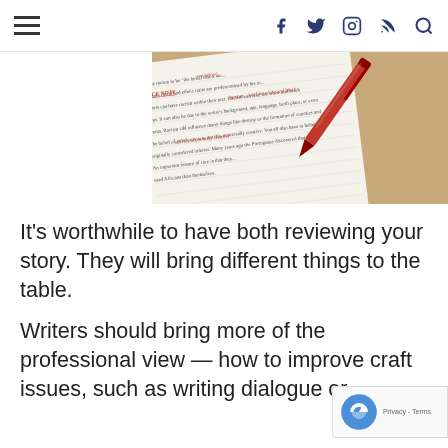Navigation header with hamburger menu and social icons: facebook, twitter, instagram, rss, search
[Figure (photo): A red pen resting on a manuscript or document with red and black text markings, placed on a wooden surface. The document shows editing marks and corrections.]
It’s worthwhile to have both reviewing your story. They will bring different things to the table.
Writers should bring more of the professional view — how to improve craft issues, such as writing dialogue or